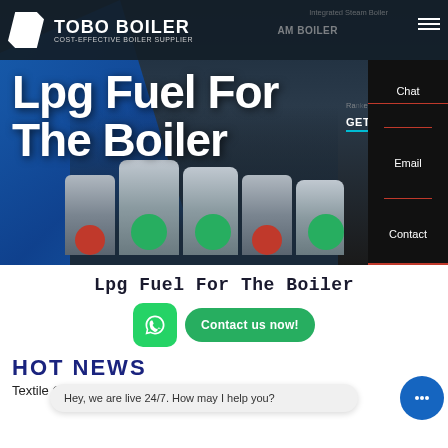[Figure (screenshot): TOBO BOILER website screenshot showing hero banner with industrial boilers, navigation bar with logo, and page title 'Lpg Fuel For The Boiler' overlaid on dark background with industrial boiler imagery]
Lpg Fuel For The Boiler
Lpg Fuel For The Boiler
HOT NEWS
Hey, we are live 24/7. How may I help you?
Textile Gas Fire Tube Boiler For Sale